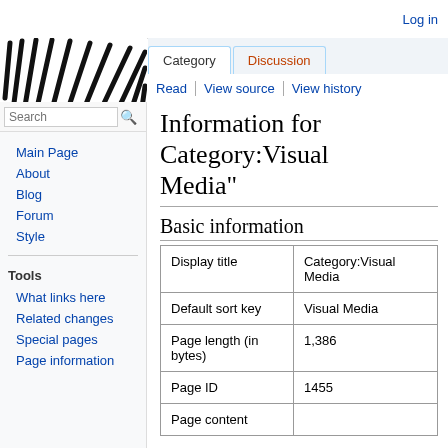Log in
[Figure (logo): Wikipedia logo — diagonal hatching lines pattern, black on white]
Category | Discussion tabs
Read | View source | View history
Information for Category:Visual Media"
Basic information
|  |  |
| --- | --- |
| Display title | Category:Visual Media |
| Default sort key | Visual Media |
| Page length (in bytes) | 1,386 |
| Page ID | 1455 |
| Page content |  |
Main Page
About
Blog
Forum
Style
Tools
What links here
Related changes
Special pages
Page information